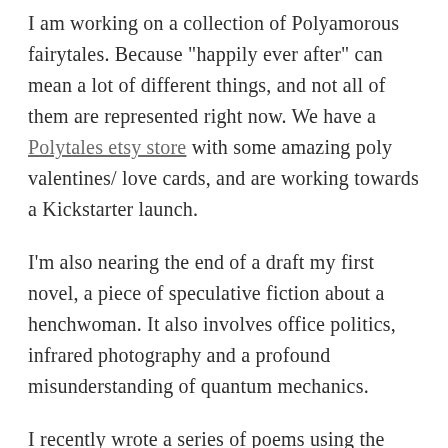I am working on a collection of Polyamorous fairytales. Because "happily ever after" can mean a lot of different things, and not all of them are represented right now. We have a Polytales etsy store with some amazing poly valentines/ love cards, and are working towards a Kickstarter launch.
I'm also nearing the end of a draft my first novel, a piece of speculative fiction about a henchwoman. It also involves office politics, infrared photography and a profound misunderstanding of quantum mechanics.
I recently wrote a series of poems using the notes engine in the video game Bloodborne. You can find them on the Tumblr I have dedicated to the project,